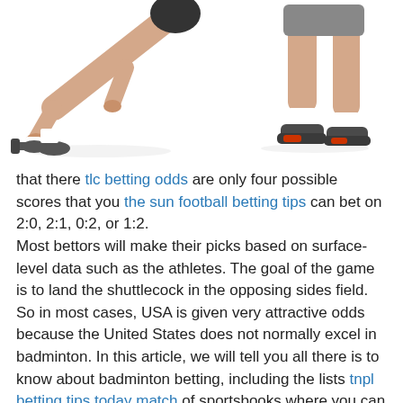[Figure (photo): Two athletes in sports stance — left side shows arms/hands reaching down with a dumbbell, right side shows legs and athletic shoes on a white background.]
that there tlc betting odds are only four possible scores that you the sun football betting tips can bet on 2:0, 2:1, 0:2, or 1:2.
Most bettors will make their picks based on surface-level data such as the athletes. The goal of the game is to land the shuttlecock in the opposing sides field. So in most cases, USA is given very attractive odds because the United States does not normally excel in badminton. In this article, we will tell you all there is to know about badminton betting, including the lists tnpl betting tips today match of sportsbooks where you can bet on this sport, the most popular badminton competitions, badminton betting types, betting tips and strategies, and more.